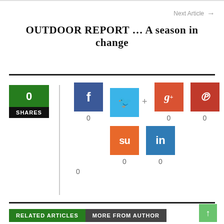Next Article →
OUTDOOR REPORT … A season in change
[Figure (infographic): Social share widget showing 0 total shares with icons for Facebook (0), Twitter (+), Google+ (0), Pinterest (0), StumbleUpon (0), LinkedIn (0)]
RELATED ARTICLES   MORE FROM AUTHOR